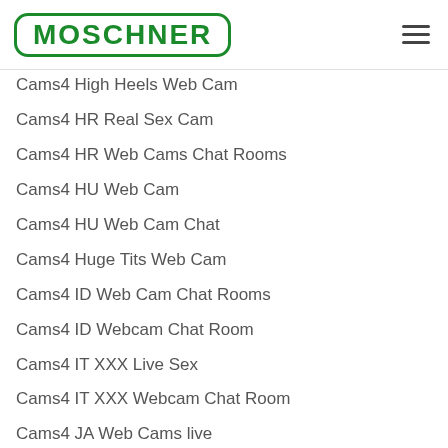MOSCHNER
Cams4 High Heels Web Cam
Cams4 HR Real Sex Cam
Cams4 HR Web Cams Chat Rooms
Cams4 HU Web Cam
Cams4 HU Web Cam Chat
Cams4 Huge Tits Web Cam
Cams4 ID Web Cam Chat Rooms
Cams4 ID Webcam Chat Room
Cams4 IT XXX Live Sex
Cams4 IT XXX Webcam Chat Room
Cams4 JA Web Cams live
Cams4 JA XXX Web Cams Chat Room